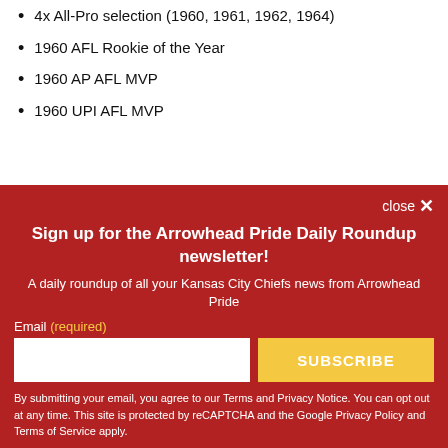4x All-Pro selection (1960, 1961, 1962, 1964)
1960 AFL Rookie of the Year
1960 AP AFL MVP
1960 UPI AFL MVP
close ✕
Sign up for the Arrowhead Pride Daily Roundup newsletter!
A daily roundup of all your Kansas City Chiefs news from Arrowhead Pride
Email (required)
By submitting your email, you agree to our Terms and Privacy Notice. You can opt out at any time. This site is protected by reCAPTCHA and the Google Privacy Policy and Terms of Service apply.